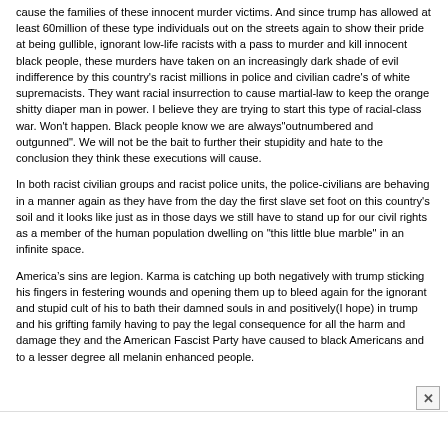cause the families of these innocent murder victims. And since trump has allowed at least 60million of these type individuals out on the streets again to show their pride at being gullible, ignorant low-life racists with a pass to murder and kill innocent black people, these murders have taken on an increasingly dark shade of evil indifference by this country's racist millions in police and civilian cadre's of white supremacists. They want racial insurrection to cause martial-law to keep the orange shitty diaper man in power. I believe they are trying to start this type of racial-class war. Won't happen. Black people know we are always"outnumbered and outgunned". We will not be the bait to further their stupidity and hate to the conclusion they think these executions will cause.
In both racist civilian groups and racist police units, the police-civilians are behaving in a manner again as they have from the day the first slave set foot on this country's soil and it looks like just as in those days we still have to stand up for our civil rights as a member of the human population dwelling on "this little blue marble" in an infinite space.
America’s sins are legion. Karma is catching up both negatively with trump sticking his fingers in festering wounds and opening them up to bleed again for the ignorant and stupid cult of his to bath their damned souls in and positively(I hope) in trump and his grifting family having to pay the legal consequence for all the harm and damage they and the American Fascist Party have caused to black Americans and to a lesser degree all melanin enhanced people.